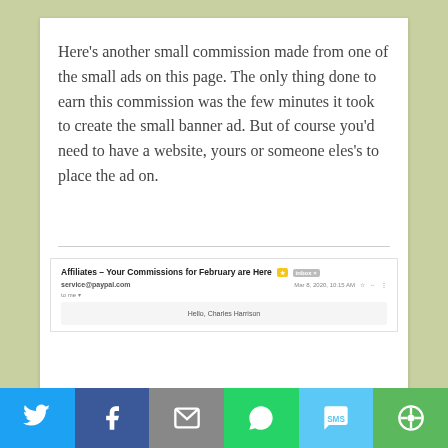Here's another small commission made from one of the small ads on this page. The only thing done to earn this commission was the few minutes it took to create the small banner ad. But of course you'd need to have a website, yours or someone eles's to place the ad on.
[Figure (screenshot): Email screenshot showing subject 'Affiliates - Your Commissions for February are Here' from service@paypal.com dated Mar 8, 2020, 10:15 AM, with greeting 'Hello, Charles Harrison' and PayPal logo partially visible]
[Figure (infographic): Social media sharing bar with Twitter, Facebook, Email, WhatsApp, SMS, and More buttons]